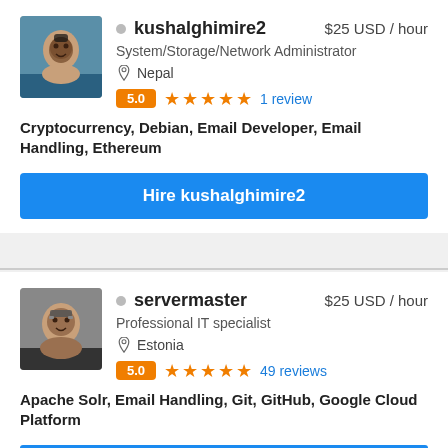[Figure (photo): Profile photo of kushalghimire2, a man near water]
kushalghimire2
$25 USD / hour
System/Storage/Network Administrator
Nepal
5.0  ★★★★★  1 review
Cryptocurrency, Debian, Email Developer, Email Handling, Ethereum
Hire kushalghimire2
[Figure (photo): Profile photo of servermaster, a man with glasses]
servermaster
$25 USD / hour
Professional IT specialist
Estonia
5.0  ★★★★★  49 reviews
Apache Solr, Email Handling, Git, GitHub, Google Cloud Platform